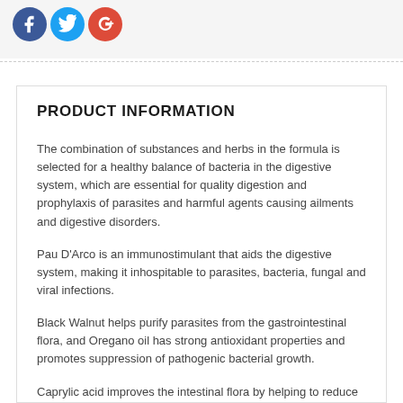[Figure (logo): Social media icons: Facebook (blue), Twitter (light blue), Google Plus (red)]
PRODUCT INFORMATION
The combination of substances and herbs in the formula is selected for a healthy balance of bacteria in the digestive system, which are essential for quality digestion and prophylaxis of parasites and harmful agents causing ailments and digestive disorders.
Pau D'Arco is an immunostimulant that aids the digestive system, making it inhospitable to parasites, bacteria, fungal and viral infections.
Black Walnut helps purify parasites from the gastrointestinal flora, and Oregano oil has strong antioxidant properties and promotes suppression of pathogenic bacterial growth.
Caprylic acid improves the intestinal flora by helping to reduce the fermentation processes formed by the fungal formations that